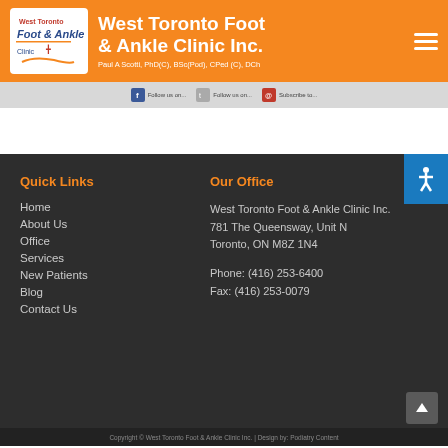West Toronto Foot & Ankle Clinic Inc. — Paul A Scotti, PhD(C), BSc(Pod), CPed (C), DCh
[Figure (logo): West Toronto Foot & Ankle Clinic logo with text]
Quick Links
Home
About Us
Office
Services
New Patients
Blog
Contact Us
Our Office
West Toronto Foot & Ankle Clinic Inc.
781 The Queensway, Unit N
Toronto, ON M8Z 1N4
Phone: (416) 253-6400
Fax: (416) 253-0079
Copyright © West Toronto Foot & Ankle Clinic Inc. | Design by: Podiatry Content